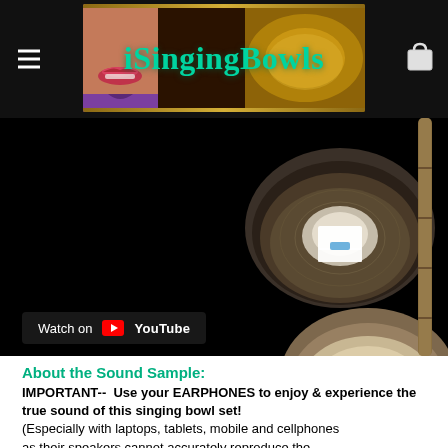iSingingBowls
[Figure (screenshot): Video thumbnail showing singing bowls on black background with YouTube watch button overlay]
About the Sound Sample:
IMPORTANT--  Use your EARPHONES to enjoy & experience the true sound of this singing bowl set!
(Especially with laptops, tablets, mobile and cellphones as their speakers cannot accurately reproduce the...